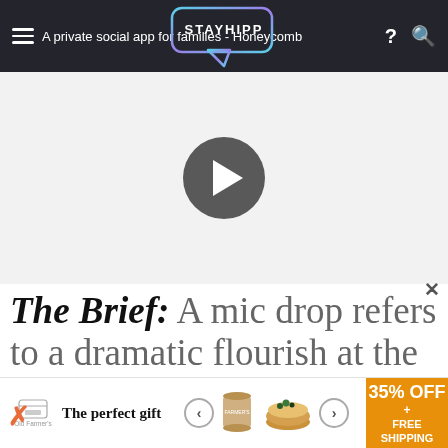A private social app for families - Honeycomb
[Figure (screenshot): Video player area with dark circular play button on light gray background]
The Brief: A mic drop refers to a dramatic flourish at the end of a devastating insult or
[Figure (infographic): Advertisement banner: 'The perfect gift' with bowl image, navigation arrows, and '35% OFF + FREE SHIPPING' promo in orange]